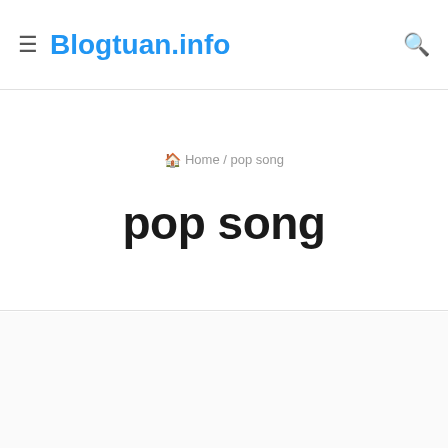Blogtuan.info
Home / pop song
pop song